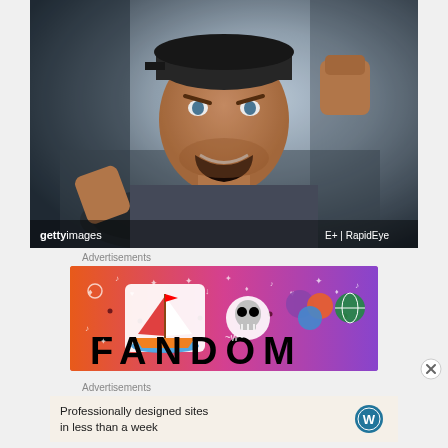[Figure (photo): Angry man in car, screaming with fists raised, sitting behind steering wheel. Getty Images photo by RapidEye.]
Advertisements
[Figure (illustration): Fandom advertisement banner with colorful gradient background (orange to purple), featuring a sailboat sticker, skull, dice, and other decorations, with FANDOM text in large bold letters.]
[Figure (other): Close button (X circle) for dismissing ad]
Advertisements
[Figure (other): WordPress advertisement: Professionally designed sites in less than a week, with WordPress logo]